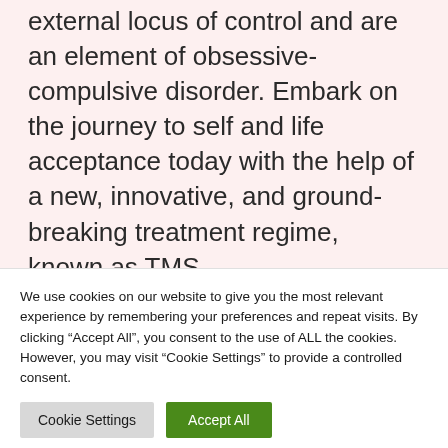external locus of control and are an element of obsessive-compulsive disorder. Embark on the journey to self and life acceptance today with the help of a new, innovative, and ground-breaking treatment regime, known as TMS. Operating under a curative model, TMS is a series of non-invasive procedures that...
We use cookies on our website to give you the most relevant experience by remembering your preferences and repeat visits. By clicking “Accept All”, you consent to the use of ALL the cookies. However, you may visit "Cookie Settings" to provide a controlled consent.